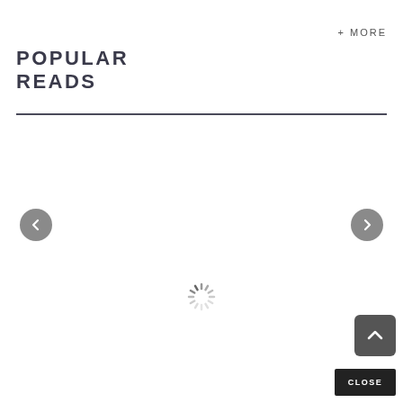+ MORE
POPULAR
READS
[Figure (screenshot): Navigation carousel with left and right arrow buttons (grey circles), a loading spinner in the center, a scroll-to-top button (grey square with upward chevron), and a CLOSE button at the bottom right.]